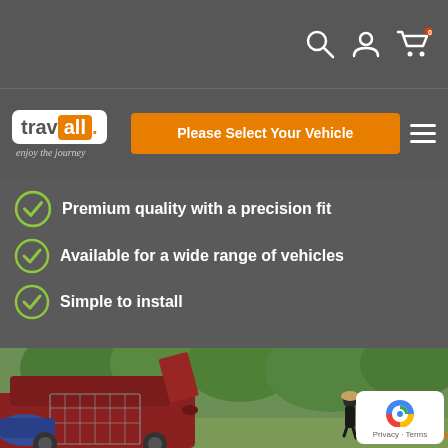Travall website header with search, user account, and cart icons
[Figure (logo): Travall logo with orange 'all' block and tagline 'enjoy the journey']
Please Select Your Vehicle
Premium quality with a precision fit
Available for a wide range of vehicles
Simple to install
[Figure (photo): An SUV car with open boot and a dog guard visible, a woman walking in background near camping tents and green trees]